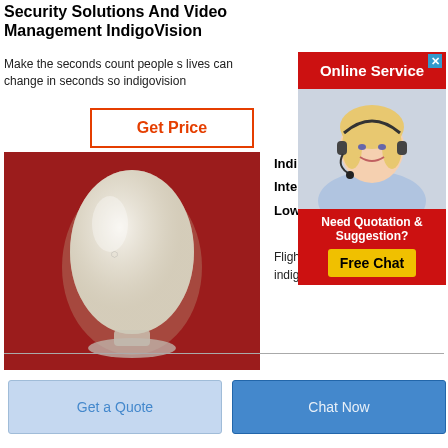Security Solutions And Video Management IndigoVision
Make the seconds count people s lives can change in seconds so indigovision
Get Price
[Figure (photo): Photo of a white powder substance in a glass egg-shaped vessel on a red background]
Indi
Inte
Low
Fligh
indig
[Figure (photo): Advertisement panel with Online Service header, photo of a smiling blonde woman wearing a headset, and a Need Quotation & Suggestion? Free Chat CTA button]
Get a Quote
Chat Now